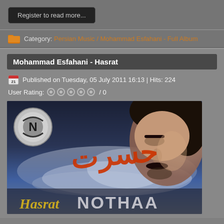Register to read more...
Category: Persian Music / Mohammad Esfahani - Full Album
Mohammad Esfahani - Hasrat
Published on Tuesday, 05 July 2011 16:13 | Hits: 224
User Rating: / 0
[Figure (photo): Album cover for Mohammad Esfahani - Hasrat. Shows a man's face on the right side against a dramatic sky background. Persian text (حسرت) in orange/red calligraphy on the left, and stylized text 'Hasrat NOTHAA' at the bottom. A logo with letter N is in the upper left corner.]